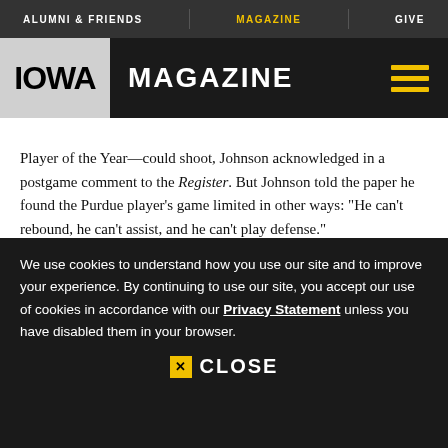ALUMNI & FRIENDS | MAGAZINE | GIVE
IOWA MAGAZINE
Player of the Year—could shoot, Johnson acknowledged in a postgame comment to the Register. But Johnson told the paper he found the Purdue player's game limited in other ways: "He can't rebound, he can't assist, and he can't play defense."
Johnson was drafted No. 7 by the Cleveland Cavaliers in 1970 and spent 12 years in the NBA, making the All-
We use cookies to understand how you use our site and to improve your experience. By continuing to use our site, you accept our use of cookies in accordance with our Privacy Statement unless you have disabled them in your browser.
CLOSE